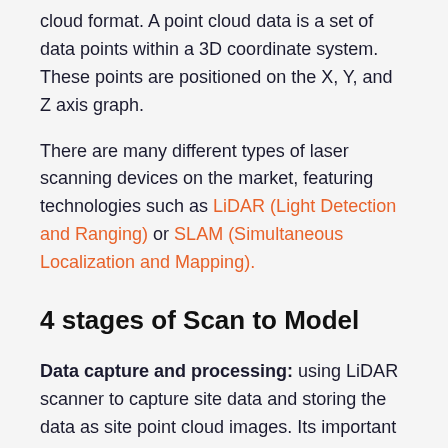cloud format. A point cloud data is a set of data points within a 3D coordinate system. These points are positioned on the X, Y, and Z axis graph.
There are many different types of laser scanning devices on the market, featuring technologies such as LiDAR (Light Detection and Ranging) or SLAM (Simultaneous Localization and Mapping).
4 stages of Scan to Model
Data capture and processing: using LiDAR scanner to capture site data and storing the data as site point cloud images. Its important to note that the scanners do not accurately capture site data in isolation and